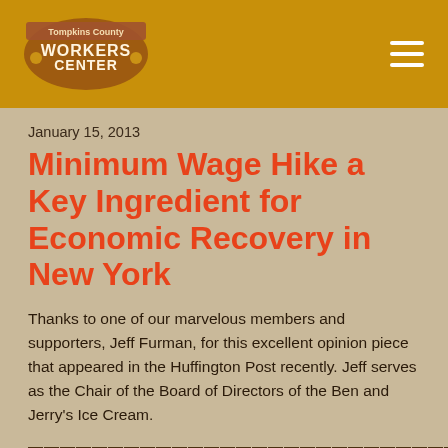Workers Center
January 15, 2013
Minimum Wage Hike a Key Ingredient for Economic Recovery in New York
Thanks to one of our marvelous members and supporters, Jeff Furman, for this excellent opinion piece that appeared in the Huffington Post recently. Jeff serves as the Chair of the Board of Directors of the Ben and Jerry's Ice Cream.
With working families in New York still struggling to make ends meet in this sluggish economic recovery, Albany lawmakers should consider a full range of policies to create jobs and boost economic growth when the new